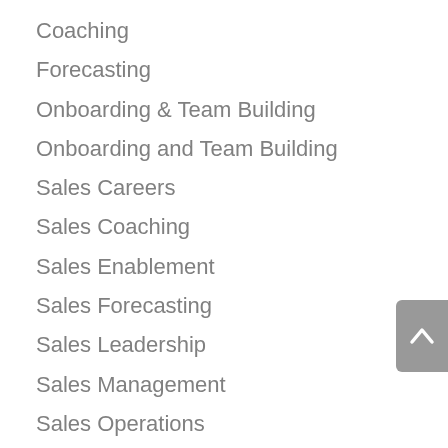Coaching
Forecasting
Onboarding & Team Building
Onboarding and Team Building
Sales Careers
Sales Coaching
Sales Enablement
Sales Forecasting
Sales Leadership
Sales Management
Sales Operations
Sales Performance Improvement
Sales Pipeline